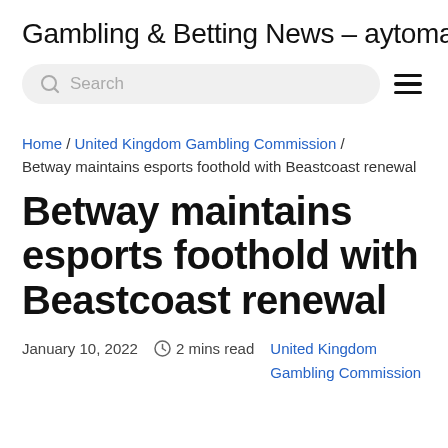Gambling & Betting News – aytomallen.co
Search
Home / United Kingdom Gambling Commission / Betway maintains esports foothold with Beastcoast renewal
Betway maintains esports foothold with Beastcoast renewal
January 10, 2022   2 mins read   United Kingdom Gambling Commission